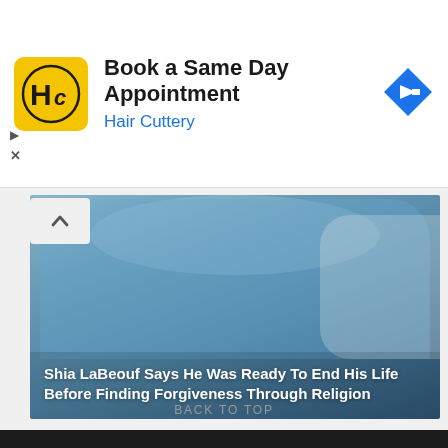[Figure (other): Hair Cuttery advertisement banner with yellow logo, text 'Book a Same Day Appointment / Hair Cuttery', and a blue diamond navigation arrow icon]
[Figure (photo): Photo of a bearded man in a blue blazer with floral shirt, with article headline overlaid: 'Shia LaBeouf Says He Was Ready To End His Life Before Finding Forgiveness Through Religion']
BACK TO TOP